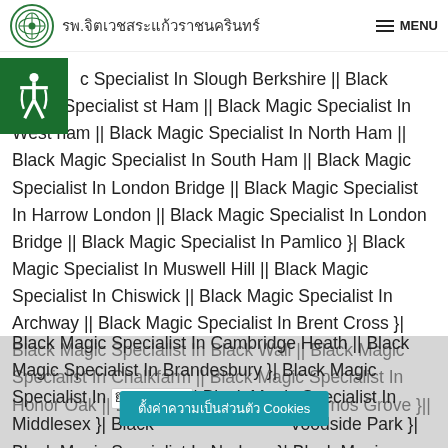รพ.จิตเวชสระแก้วราชนครินทร์ MENU
c Specialist In Slough Berkshire || Black Magic Specialist st Ham || Black Magic Specialist In West ham || Black Magic Specialist In North Ham || Black Magic Specialist In South Ham || Black Magic Specialist In London Bridge || Black Magic Specialist In Harrow London || Black Magic Specialist In London Bridge || Black Magic Specialist In Pamlico }| Black Magic Specialist In Muswell Hill || Black Magic Specialist In Chiswick || Black Magic Specialist In Archway || Black Magic Specialist In Brent Cross }| Black Magic Specialist In Black Wall || Black Magic Specialist In Chalkfarm || Black Magic Specialist In Honor Oak || Black Magic Specialist In Arnos Grove }|| Black Magic Specialist In Cambridge Heath || Black Magic Specialist In Brandesbury }| Black Magic Specialist In Mill Bank }| Black Magic Specialist In Middlesex }| Black ... Voodside Park }| Black Magic Specialist In Norbury }| Black Magic Specialist